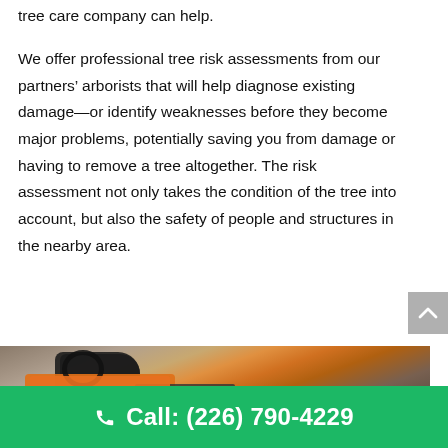tree care company can help.
We offer professional tree risk assessments from our partners’ arborists that will help diagnose existing damage—or identify weaknesses before they become major problems, potentially saving you from damage or having to remove a tree altogether. The risk assessment not only takes the condition of the tree into account, but also the safety of people and structures in the nearby area.
[Figure (photo): Close-up photo of a chainsaw with orange casing lying on the ground among leaves and dirt.]
Call: (226) 790-4229